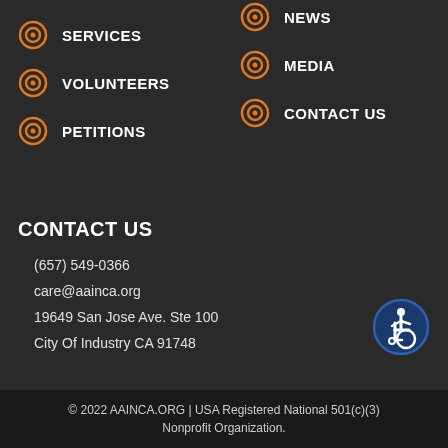SERVICES
NEWS
VOLUNTEERS
MEDIA
PETITIONS
CONTACT US
CONTACT US
(657) 549-0366
care@aainca.org
19649 San Jose Ave. Ste 100
City Of Industry CA 91748
[Figure (illustration): Accessibility icon — blue circle with white wheelchair user symbol]
© 2022 AAINCA.ORG | USA Registered National 501(c)(3) Nonprofit Organization.